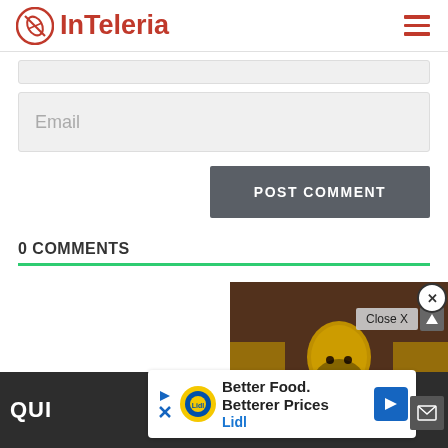InTeleria
Email
POST COMMENT
0 COMMENTS
[Figure (screenshot): Video player overlay showing a game character with yellow helmet, with WatchMojo branding and play button, plus Close X button]
Close X
Better Food. Betterer Prices
Lidl
QUI